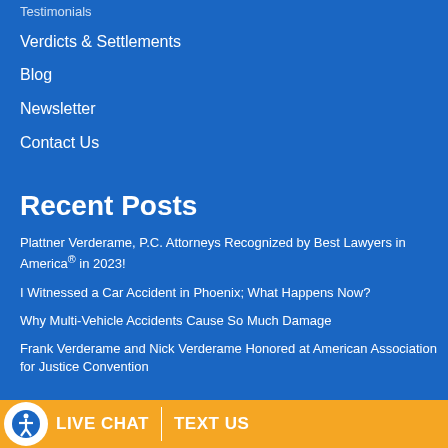Testimonials
Verdicts & Settlements
Blog
Newsletter
Contact Us
Recent Posts
Plattner Verderame, P.C. Attorneys Recognized by Best Lawyers in America® in 2023!
I Witnessed a Car Accident in Phoenix; What Happens Now?
Why Multi-Vehicle Accidents Cause So Much Damage
Frank Verderame and Nick Verderame Honored at American Association for Justice Convention
LIVE CHAT   TEXT US